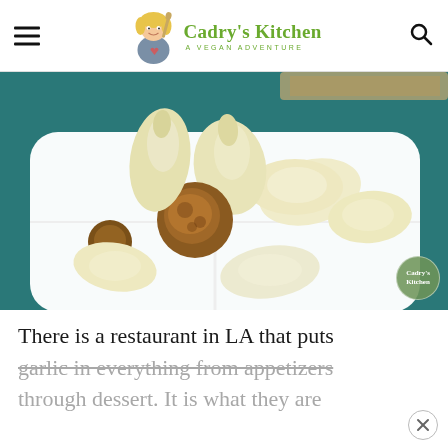Cadry's Kitchen - A Vegan Adventure
[Figure (photo): Roasted garlic cloves in a white divided ceramic dish on a teal background, with a wooden board visible in the upper right corner. A Cadry's Kitchen watermark circle is visible in the lower right.]
There is a restaurant in LA that puts garlic in everything from appetizers through dessert. It is what they are